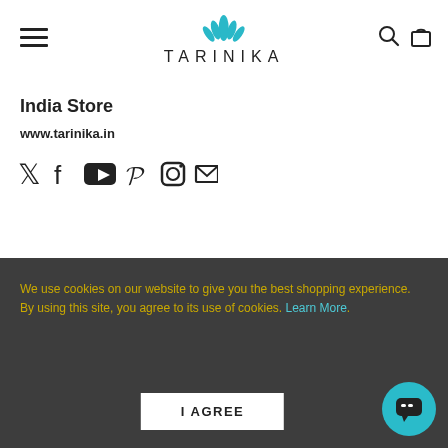[Figure (logo): Tarinika brand logo with lotus/flower icon and text TARINIKA in spaced serif caps, teal color]
India Store
www.tarinika.in
[Figure (infographic): Social media icons: Twitter, Facebook, YouTube, Pinterest, Instagram, Email]
[Figure (other): USD $ currency selector dropdown button]
We use cookies on our website to give you the best shopping experience. By using this site, you agree to its use of cookies. Learn More.
[Figure (other): I AGREE button and chat bubble icon]